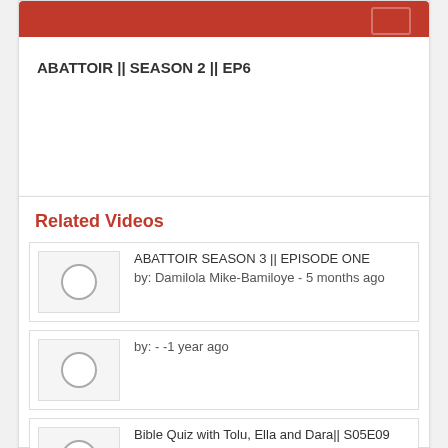[Figure (screenshot): Red bar/button UI element at top of video card]
ABATTOIR || SEASON 2 || EP6
Related Videos
ABATTOIR SEASON 3 || EPISODE ONE
by: Damilola Mike-Bamiloye - 5 months ago
by: - -1 year ago
Bible Quiz with Tolu, Ella and Dara|| S05E09
by: Damilola Mike-Bamiloye - 2 week ago